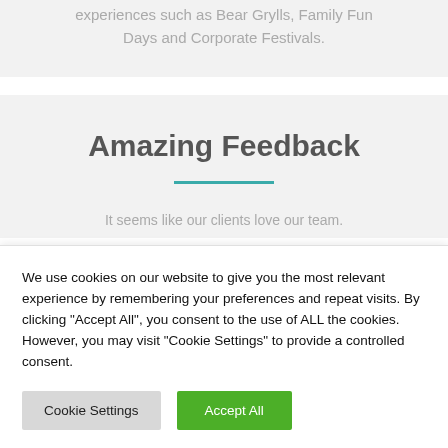experiences such as Bear Grylls, Family Fun Days and Corporate Festivals.
Amazing Feedback
It seems like our clients love our team.
We use cookies on our website to give you the most relevant experience by remembering your preferences and repeat visits. By clicking "Accept All", you consent to the use of ALL the cookies. However, you may visit "Cookie Settings" to provide a controlled consent.
Cookie Settings
Accept All